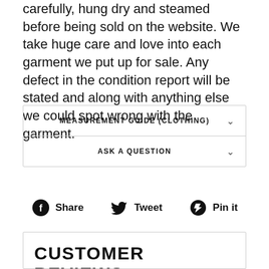carefully, hung dry and steamed before being sold on the website. We take huge care and love into each garment we put up for sale. Any defect in the condition report will be stated and along with anything else we could spot wrong with the garment.
MEASUREMENT GUIDE (CLOTHING)
ASK A QUESTION
Share  Tweet  Pin it
CUSTOMER REVIEWS
[Figure (other): Five empty star rating icons in gold/orange outline]